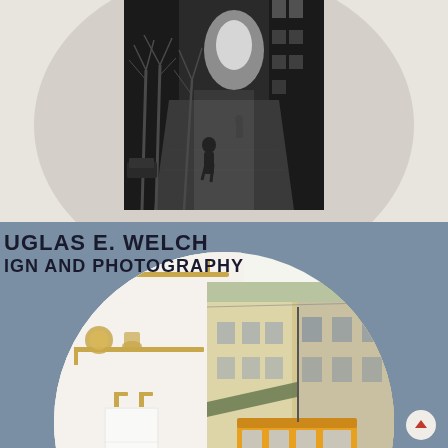[Figure (photo): Black and white street photography showing a tree-lined avenue with a person walking away from the camera, parked cars on the left, tall buildings on the right, bare winter trees]
DOUGLAS E. WELCH DESIGN AND PHOTOGRAPHY
[Figure (photo): Interior bathroom or hallway scene with white towel hanging on brass/gold hooks, a shelf with decorative items, and a circular framed photo of a yellow tram on a European city street]